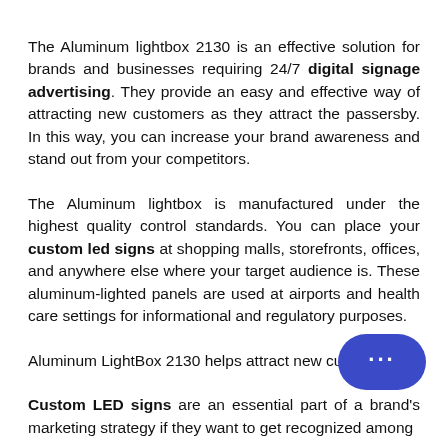The Aluminum lightbox 2130 is an effective solution for brands and businesses requiring 24/7 digital signage advertising. They provide an easy and effective way of attracting new customers as they attract the passersby. In this way, you can increase your brand awareness and stand out from your competitors.
The Aluminum lightbox is manufactured under the highest quality control standards. You can place your custom led signs at shopping malls, storefronts, offices, and anywhere else where your target audience is. These aluminum-lighted panels are used at airports and health care settings for informational and regulatory purposes.
Aluminum LightBox 2130 helps attract new custo...
Custom LED signs are an essential part of a brand's marketing strategy if they want to get recognized among...
[Figure (illustration): Chat bubble widget — dark blue rounded rectangle with three dots indicating a chat interface]